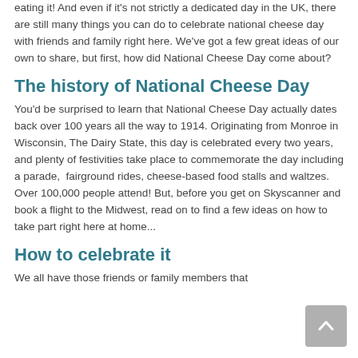eating it! And even if it's not strictly a dedicated day in the UK, there are still many things you can do to celebrate national cheese day with friends and family right here. We've got a few great ideas of our own to share, but first, how did National Cheese Day come about?
The history of National Cheese Day
You'd be surprised to learn that National Cheese Day actually dates back over 100 years all the way to 1914. Originating from Monroe in Wisconsin, The Dairy State, this day is celebrated every two years, and plenty of festivities take place to commemorate the day including a parade, fairground rides, cheese-based food stalls and waltzes. Over 100,000 people attend! But, before you get on Skyscanner and book a flight to the Midwest, read on to find a few ideas on how to take part right here at home...
How to celebrate it
We all have those friends or family members that